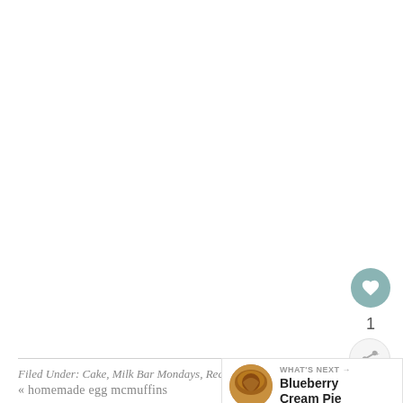[Figure (other): Heart/like button — circular teal button with white heart icon, showing count of 1 below, and a share button below that]
Filed Under: Cake, Milk Bar Mondays, Recipes, Truffles
[Figure (other): What's Next panel with thumbnail of Blueberry Cream Pie and link text]
« homemade egg mcmuffins